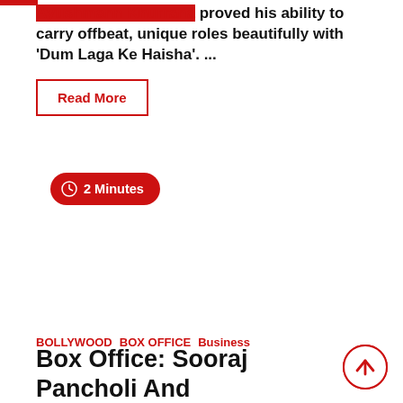...proved his ability to carry offbeat, unique roles beautifully with 'Dum Laga Ke Haisha'. ...
Read More
2 Minutes
BOLLYWOOD  BOX OFFICE  Business
Box Office: Sooraj Pancholi And